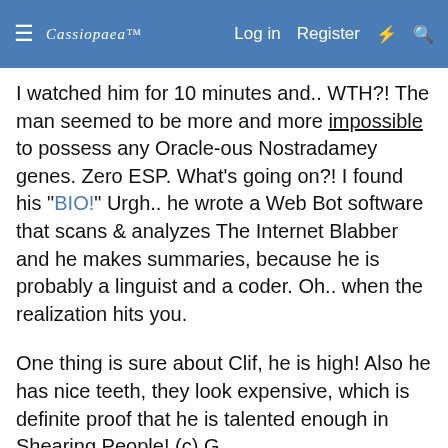Cassiopaea | Log in | Register
I watched him for 10 minutes and.. WTH?! The man seemed to be more and more impossible to possess any Oracle-ous Nostradamey genes. Zero ESP. What's going on?! I found his "BIO!" Urgh.. he wrote a Web Bot software that scans & analyzes The Internet Blabber and he makes summaries, because he is probably a linguist and a coder. Oh.. when the realization hits you.

One thing is sure about Clif, he is high! Also he has nice teeth, they look expensive, which is definite proof that he is talented enough in Shearing People! (c) G.
wodasi
This site uses cookies to help personalise content, tailor your experience and to keep you logged in if you register. By continuing to use this site, you are consenting to our use of cookies.